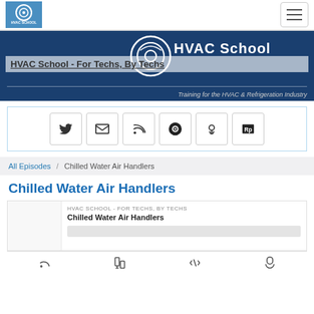[Figure (logo): HVAC School logo in blue square, top left navigation bar]
[Figure (logo): Hamburger menu button top right]
[Figure (illustration): HVAC School banner with circular logo and text 'HVAC School' on dark blue background]
HVAC School - For Techs, By Techs
Training for the HVAC & Refrigeration Industry
[Figure (infographic): Six social media/subscription icon buttons: Twitter, Email, RSS, Podcast platform, Apple Podcasts, RadioPublic]
All Episodes / Chilled Water Air Handlers
Chilled Water Air Handlers
HVAC SCHOOL - FOR TECHS, BY TECHS
Chilled Water Air Handlers